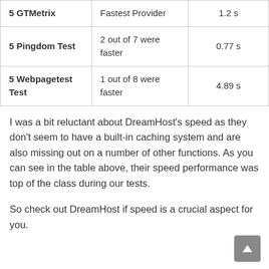|  |  |  |
| --- | --- | --- |
| 5 GTMetrix | Fastest Provider | 1.2 s |
| 5 Pingdom Test | 2 out of 7 were faster | 0.77 s |
| 5 Webpagetest Test | 1 out of 8 were faster | 4.89 s |
I was a bit reluctant about DreamHost's speed as they don't seem to have a built-in caching system and are also missing out on a number of other functions. As you can see in the table above, their speed performance was top of the class during our tests.
So check out DreamHost if speed is a crucial aspect for you.